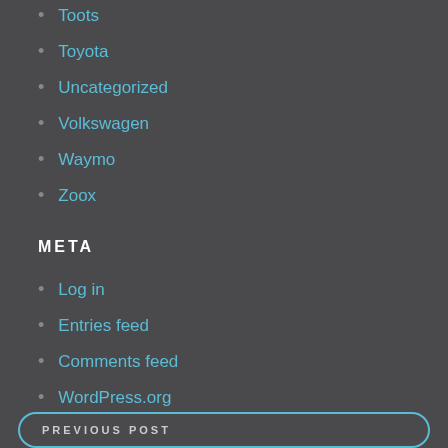Toots
Toyota
Uncategorized
Volkswagen
Waymo
Zoox
META
Log in
Entries feed
Comments feed
WordPress.org
PREVIOUS POST